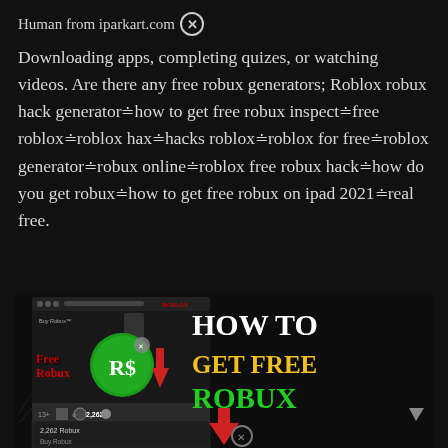Human from iparkart.com ⊗
Downloading apps, completing quizes, or watching videos. Are there any free robux generators; Roblox robux hack generator≐how to get free robux inspect≐free roblox≐roblox hax≐hacks roblox≐roblox for free≐roblox generator≐robux online≐roblox free robux hack≐how do you get robux≐how to get free robux on ipad 2021≐real free.
[Figure (screenshot): Screenshot of Roblox 'Buy Robux' page with overlay graphic showing 'HOW TO GET FREE ROBUX' in large text, a green RS$ coin icon, red arrow, 'Free Robux' label in red, and 'NewsRos.com' in green vertical text on the right side. The Roblox interface shows 2,262 Robux balance.]